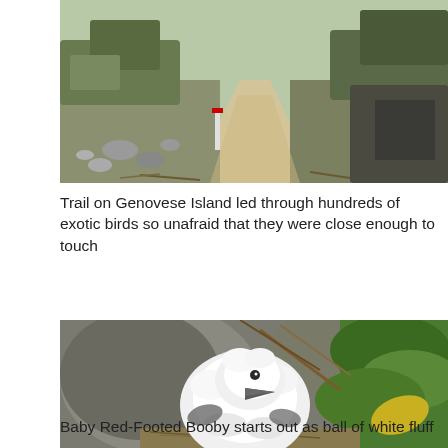[Figure (photo): Trail on Genovese Island — a sandy dirt path winding through rocky terrain with low scrubby vegetation and dried brush on both sides]
Trail on Genovese Island led through hundreds of exotic birds so unafraid that they were close enough to touch
[Figure (photo): Baby Red-Footed Booby chick — a fluffy white bird chick with dark beak sitting in a nest among rocks and green foliage]
Baby Red-Footed Booby starts out as ball of white fluff